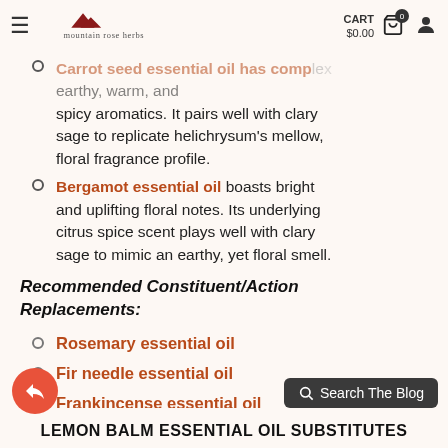Mountain Rose Herbs — CART $0.00
Carrot seed essential oil has complex earthy, warm, and spicy aromatics. It pairs well with clary sage to replicate helichrysum's mellow, floral fragrance profile.
Bergamot essential oil boasts bright and uplifting floral notes. Its underlying citrus spice scent plays well with clary sage to mimic an earthy, yet floral smell.
Recommended Constituent/Action Replacements:
Rosemary essential oil
Fir needle essential oil
Frankincense essential oil
Carrot seed essential oil
Search The Blog | LEMON BALM ESSENTIAL OIL SUBSTITUTES